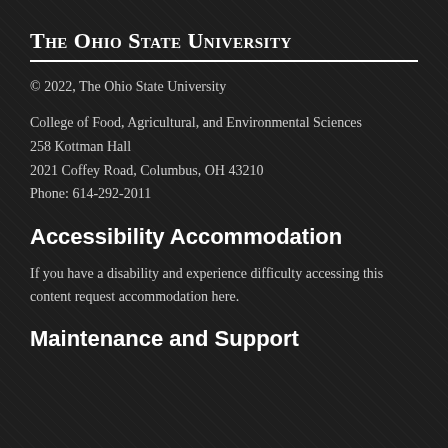The Ohio State University
© 2022, The Ohio State University
College of Food, Agricultural, and Environmental Sciences
258 Kottman Hall
2021 Coffey Road, Columbus, OH 43210
Phone: 614-292-2011
Accessibility Accommodation
If you have a disability and experience difficulty accessing this content request accommodation here.
Maintenance and Support